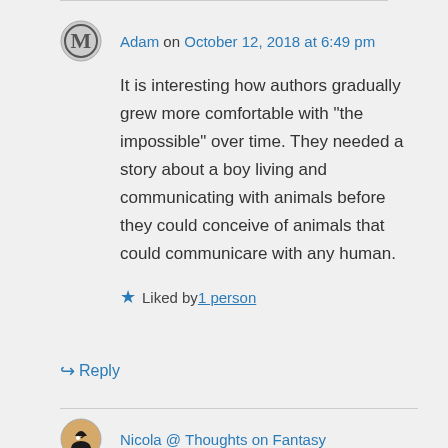Adam on October 12, 2018 at 6:49 pm
It is interesting how authors gradually grew more comfortable with “the impossible” over time. They needed a story about a boy living and communicating with animals before they could conceive of animals that could communicare with any human.
Liked by 1 person
Reply
Nicola @ Thoughts on Fantasy